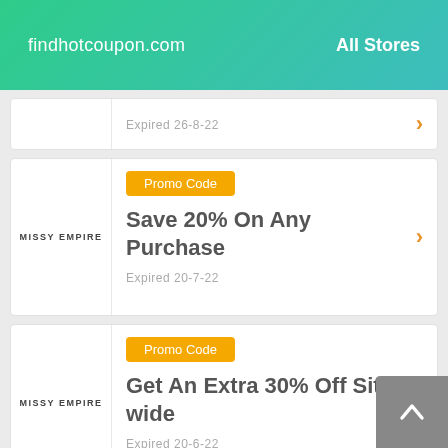findhotcoupon.com   All Stores
Expired 26-8-22
Promo Code
Save 20% On Any Purchase
Expired 20-7-22
Promo Code
Get An Extra 30% Off Site-wide
Expired 20-6-22